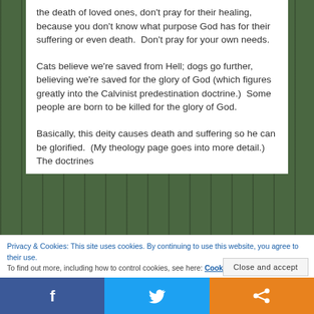the death of loved ones, don't pray for their healing, because you don't know what purpose God has for their suffering or even death.  Don't pray for your own needs.
Cats believe we're saved from Hell; dogs go further, believing we're saved for the glory of God (which figures greatly into the Calvinist predestination doctrine.)  Some people are born to be killed for the glory of God.
Basically, this deity causes death and suffering so he can be glorified.  (My theology page goes into more detail.)  The doctrines
Privacy & Cookies: This site uses cookies. By continuing to use this website, you agree to their use.
To find out more, including how to control cookies, see here: Cookie Policy
Close and accept